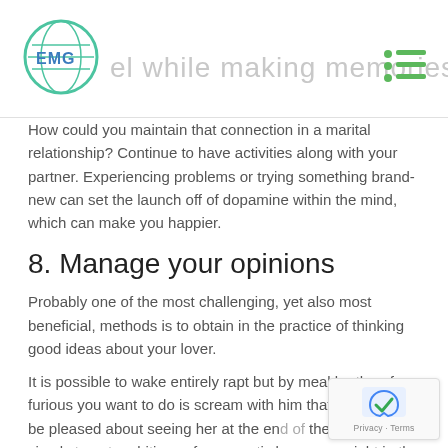el while making memories
How could you maintain that connection in a marital relationship? Continue to have activities along with your partner. Experiencing problems or trying something brand-new can set the launch off of dopamine within the mind, which can make you happier.
8. Manage your opinions
Probably one of the most challenging, yet also most beneficial, methods is to obtain in the practice of thinking good ideas about your lover.
It is possible to wake entirely rapt but by meal be therefore furious you want to do is scream with him that all. You may be pleased about seeing her at the end of the afternoon, simply to get ambitions of a romantic became a night in the battles.